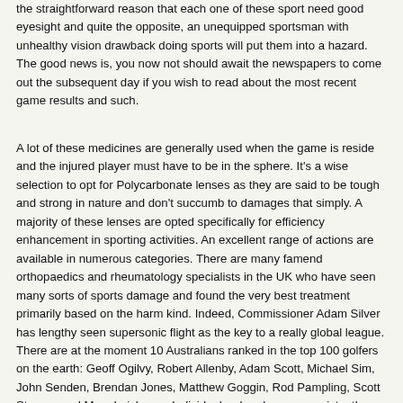the straightforward reason that each one of these sport need good eyesight and quite the opposite, an unequipped sportsman with unhealthy vision drawback doing sports will put them into a hazard. The good news is, you now not should await the newspapers to come out the subsequent day if you wish to read about the most recent game results and such.
A lot of these medicines are generally used when the game is reside and the injured player must have to be in the sphere. It's a wise selection to opt for Polycarbonate lenses as they are said to be tough and strong in nature and don't succumb to damages that simply. A majority of these lenses are opted specifically for efficiency enhancement in sporting activities. An excellent range of actions are available in numerous categories. There are many famend orthopaedics and rheumatology specialists in the UK who have seen many sorts of sports damage and found the very best treatment primarily based on the harm kind. Indeed, Commissioner Adam Silver has lengthy seen supersonic flight as the key to a really global league. There are at the moment 10 Australians ranked in the top 100 golfers on the earth: Geoff Ogilvy, Robert Allenby, Adam Scott, Michael Sim, John Senden, Brendan Jones, Matthew Goggin, Rod Pampling, Scott Strange and Marc Leishman. Individuals who play are consistently healthy and fit since they're always working out. And, after all, there's always drama surrounding James, who will attempt to make his eighth straight Finals before possibly opting out of his contract subsequent